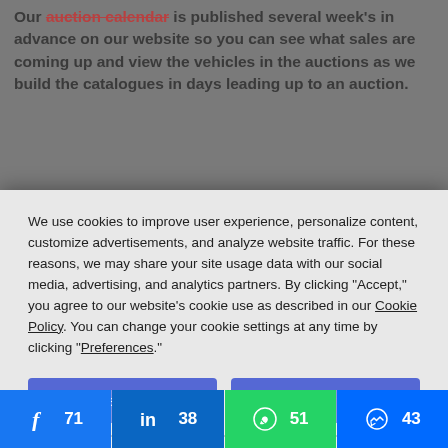Our auction calendar is published several week's in advance on our website so you can see what sales are coming up and view the vehicles in the auctions as we build the catalogues in days leading up to an auction.
We use cookies to improve user experience, personalize content, customize advertisements, and analyze website traffic. For these reasons, we may share your site usage data with our social media, advertising, and analytics partners. By clicking "Accept," you agree to our website's cookie use as described in our Cookie Policy. You can change your cookie settings at any time by clicking "Preferences."
Decline
Accept
Preferences
[Figure (screenshot): Social share bar with Facebook (71), LinkedIn (38), WhatsApp (51), Messenger (43) counts]